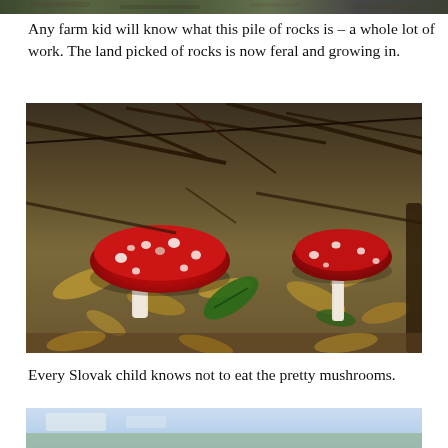[Figure (photo): Partial top of a photo showing rocks or outdoor terrain, cropped at top of page]
Any farm kid will know what this pile of rocks is – a whole lot of work. The land picked of rocks is now feral and growing in.
[Figure (photo): Two bright red fly agaric (Amanita muscaria) mushrooms with white spots growing among fallen leaves, branches and forest debris]
Every Slovak child knows not to eat the pretty mushrooms.
[Figure (photo): Partial bottom photo showing an outdoor landscape scene, cropped at bottom of page]